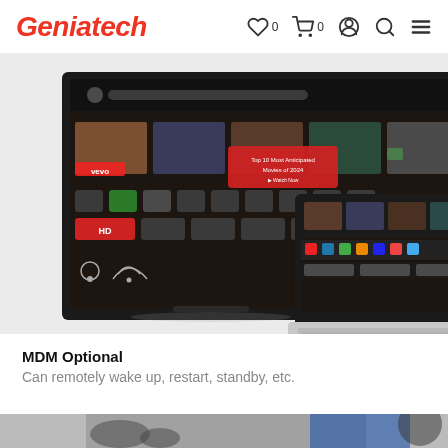Geniatech — navigation bar with logo, wishlist (0), cart (0), account, search, menu
[Figure (photo): Product hero image showing a large smart TV displaying an Android TV interface with media content tiles, and an open laptop with a similar media interface on its screen, against a light grey background.]
MDM Optional
Can remotely wake up, restart, standby, etc.
[Figure (photo): Partial bottom banner image showing hands and a blue jersey, cut off at page bottom.]